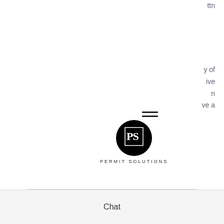ttn
y of
ive
n
ve a
[Figure (logo): Permit Solutions logo: black circle with 'PS' monogram and text 'PERMIT SOLUTIONS' below]
[Figure (other): Social media icons: Instagram, Yelp, LinkedIn, YouTube]
This post is being published as the Development Code Update is being amended and (hopefully) implemented. Be sure to check the most updated information with the City of Austin to ensure you are applying the most up-to-date code to your projects. This post is not
Chat